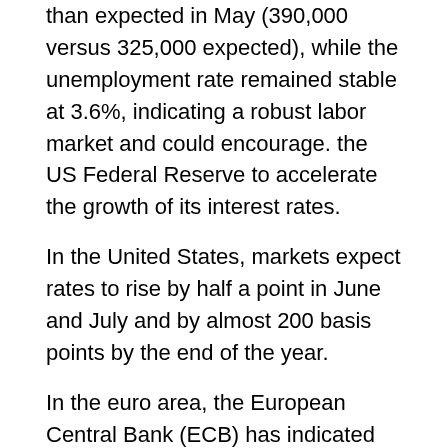than expected in May (390,000 versus 325,000 expected), while the unemployment rate remained stable at 3.6%, indicating a robust labor market and could encourage. the US Federal Reserve to accelerate the growth of its interest rates.
In the United States, markets expect rates to rise by half a point in June and July and by almost 200 basis points by the end of the year.
In the euro area, the European Central Bank (ECB) has indicated that its deposit rate will return to positive levels by the end of September, and euro area money markets now expect rates to rise by 125 basis points by the end of the year. September, the end of the year and an increase of 100 points by October.